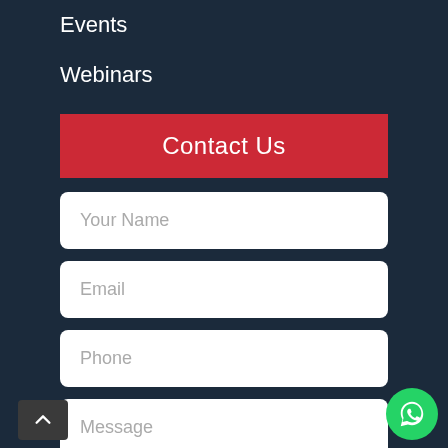Events
Webinars
Contact Us
Your Name
Email
Phone
Message